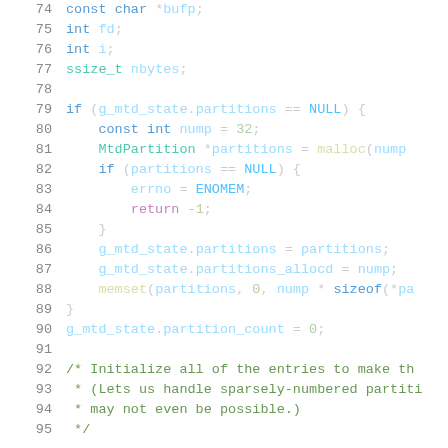Source code listing, lines 74-95, C language code involving MTD partition initialization